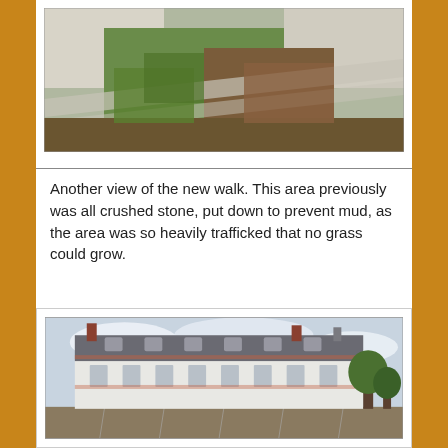[Figure (photo): Aerial or elevated view of a new concrete walkway with grass and bare soil areas alongside it, construction site.]
Another view of the new walk. This area previously was all crushed stone, put down to prevent mud, as the area was so heavily trafficked that no grass could grow.
[Figure (photo): Exterior view of a large historic white building with mansard roof and brick chimneys, surrounded by bare ground, possibly under renovation.]